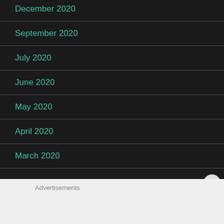December 2020
September 2020
July 2020
June 2020
May 2020
April 2020
March 2020
Advertisements